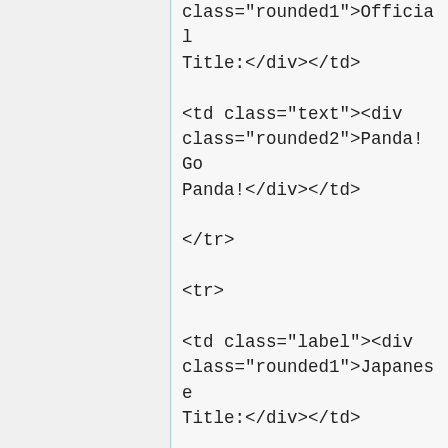class="rounded1">Official Title:</div></td>

<td class="text"><div class="rounded2">Panda! Go Panda!</div></td>

</tr>

<tr>

<td class="label"><div class="rounded1">Japanese Title:</div></td>

<td class="text"><div class="rounded2">パンダコパンダ</div></td>

</tr>

<tr>

<td class="label"><div class="rounded1">Year: